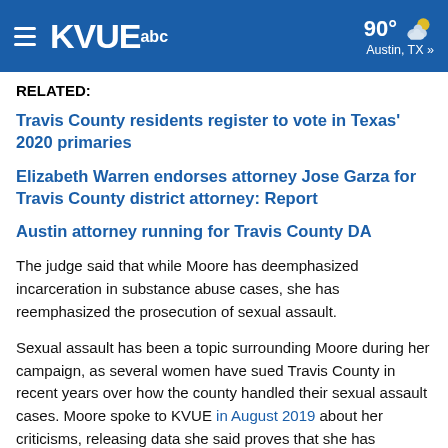KVUE abc | 90° Austin, TX »
RELATED:
Travis County residents register to vote in Texas' 2020 primaries
Elizabeth Warren endorses attorney Jose Garza for Travis County district attorney: Report
Austin attorney running for Travis County DA
The judge said that while Moore has deemphasized incarceration in substance abuse cases, she has reemphasized the prosecution of sexual assault.
Sexual assault has been a topic surrounding Moore during her campaign, as several women have sued Travis County in recent years over how the county handled their sexual assault cases. Moore spoke to KVUE in August 2019 about her criticisms, releasing data she said proves that she has remained tough on those crimes.